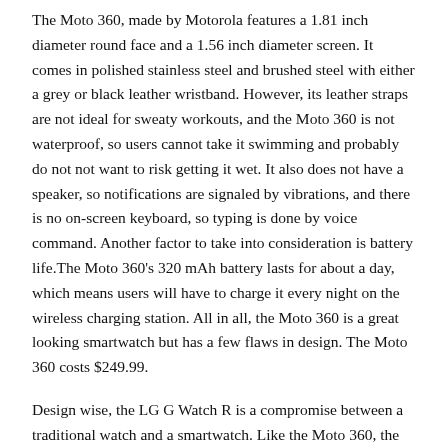The Moto 360, made by Motorola features a 1.81 inch diameter round face and a 1.56 inch diameter screen. It comes in polished stainless steel and brushed steel with either a grey or black leather wristband. However, its leather straps are not ideal for sweaty workouts, and the Moto 360 is not waterproof, so users cannot take it swimming and probably do not not want to risk getting it wet. It also does not have a speaker, so notifications are signaled by vibrations, and there is no on-screen keyboard, so typing is done by voice command. Another factor to take into consideration is battery life.The Moto 360's 320 mAh battery lasts for about a day, which means users will have to charge it every night on the wireless charging station. All in all, the Moto 360 is a great looking smartwatch but has a few flaws in design. The Moto 360 costs $249.99.
Design wise, the LG G Watch R is a compromise between a traditional watch and a smartwatch. Like the Moto 360, the LG G Watch R has a round display; however, that is pretty much where the similarities end. Unlike the Moto 360's minimalistic design, the LG G Watch R has a large, chunky, angular bezel and a sunken display, reminiscent of Casio's G Shock watches. It only comes in one size and one color: black.